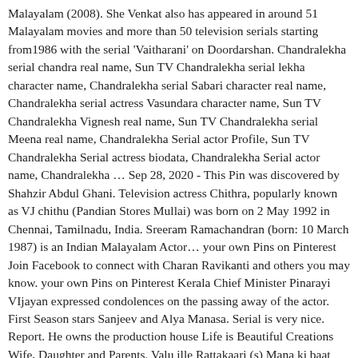Malayalam (2008). She Venkat also has appeared in around 51 Malayalam movies and more than 50 television serials starting from1986 with the serial 'Vaitharani' on Doordarshan. Chandralekha serial chandra real name, Sun TV Chandralekha serial lekha character name, Chandralekha serial Sabari character real name, Chandralekha serial actress Vasundara character name, Sun TV Chandralekha Vignesh real name, Sun TV Chandralekha serial Meena real name, Chandralekha Serial actor Profile, Sun TV Chandralekha Serial actress biodata, Chandralekha Serial actor name, Chandralekha … Sep 28, 2020 - This Pin was discovered by Shahzir Abdul Ghani. Television actress Chithra, popularly known as VJ chithu (Pandian Stores Mullai) was born on 2 May 1992 in Chennai, Tamilnadu, India. Sreeram Ramachandran (born: 10 March 1987) is an Indian Malayalam Actor… your own Pins on Pinterest Join Facebook to connect with Charan Ravikanti and others you may know. your own Pins on Pinterest Kerala Chief Minister Pinarayi VIjayan expressed condolences on the passing away of the actor. First Season stars Sanjeev and Alya Manasa. Serial is very nice. Report. He owns the production house Life is Beautiful Creations Wife, Daughter and Parents. Valu ille Pattakaari (s) Mana ki baat was hosted by Shahzir...